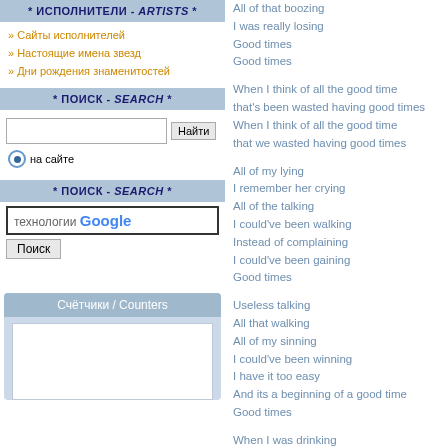* ИСПОЛНИТЕЛИ - ARTISTS *
» Сайты исполнителей
» Настоящие имена звезд
» Дни рождения знаменитостей
* ПОИСК - SEARCH *
на сайте
* ПОИСК - SEARCH *
технологии Google
Поиск
Счётчики / Counters
All of that boozing
I was really losing
Good times
Good times

When I think of all the good time that's been wasted having good times
When I think of all the good time that we wasted having good times

All of my lying
I remember her crying
All of the talking
I could've been walking
Instead of complaining
I could've been gaining
Good times

Useless talking
All that walking
All of my sinning
I could've been winning
I have it too easy
And its a beginning of a good time
Good times

When I was drinking
I should've been thinking
When I was drinking